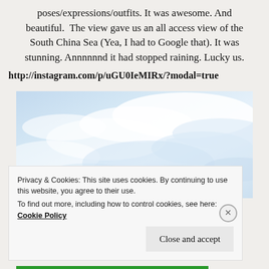poses/expressions/outfits. It was awesome. And beautiful. The view gave us an all access view of the South China Sea (Yea, I had to Google that). It was stunning. Annnnnnd it had stopped raining. Lucky us.
http://instagram.com/p/uGU0IeMIRx/?modal=true
[Figure (photo): A sky photo showing blue sky with white and light grey clouds, viewed from above or at elevation.]
Privacy & Cookies: This site uses cookies. By continuing to use this website, you agree to their use.
To find out more, including how to control cookies, see here: Cookie Policy
Close and accept